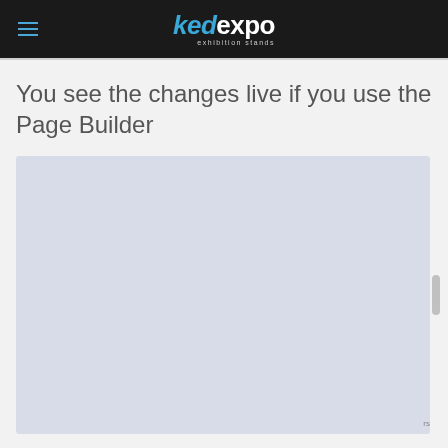kedexpo exhibition stands
You see the changes live if you use the Page Builder
[Figure (screenshot): A large light blue-gray empty content area representing a Page Builder preview panel]